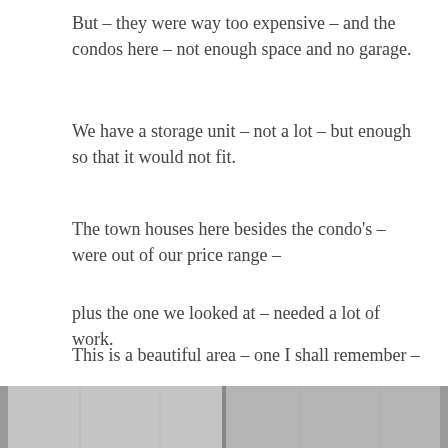But – they were way too expensive – and the condos here – not enough space and no garage.
We have a storage unit – not a lot – but enough so that it would not fit.
The town houses here besides the condo's – were out of our price range –
plus the one we looked at – needed a lot of work.
This is a beautiful area – one I shall remember –
We were blessed to have spent time here – but it also was expensive!
[Figure (photo): A grayscale photograph visible at the bottom of the page, partially cropped, appears to show an interior or exterior scene split into two panels.]